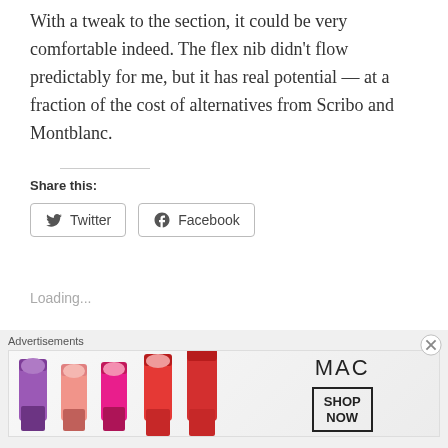With a tweak to the section, it could be very comfortable indeed. The flex nib didn't flow predictably for me, but it has real potential — at a fraction of the cost of alternatives from Scribo and Montblanc.
Share this:
[Figure (infographic): Twitter and Facebook share buttons with icons]
Loading...
Related
[Figure (infographic): MAC cosmetics advertisement banner showing lipsticks and MAC logo with SHOP NOW button]